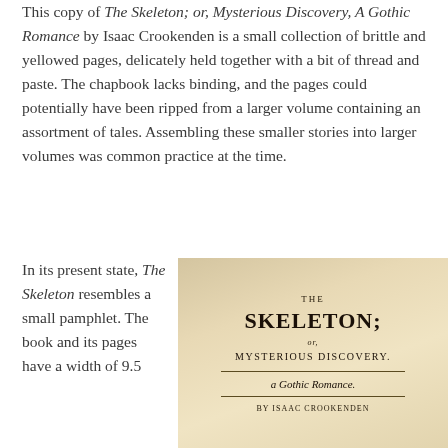This copy of The Skeleton; or, Mysterious Discovery, A Gothic Romance by Isaac Crookenden is a small collection of brittle and yellowed pages, delicately held together with a bit of thread and paste. The chapbook lacks binding, and the pages could potentially have been ripped from a larger volume containing an assortment of tales. Assembling these smaller stories into larger volumes was common practice at the time.
In its present state, The Skeleton resembles a small pamphlet. The book and its pages have a width of 9.5
[Figure (photo): Photograph of the title page of 'The Skeleton; or, Mysterious Discovery. A Gothic Romance' by Isaac Crookenden, showing an aged, yellowed chapbook title page with dark background.]